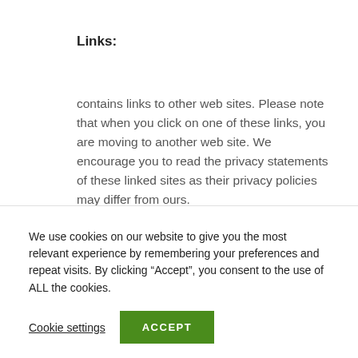Links:
contains links to other web sites. Please note that when you click on one of these links, you are moving to another web site. We encourage you to read the privacy statements of these linked sites as their privacy policies may differ from ours.
Navigation
Home
Disclaimer
Privacy
We use cookies on our website to give you the most relevant experience by remembering your preferences and repeat visits. By clicking “Accept”, you consent to the use of ALL the cookies.
Cookie settings
ACCEPT